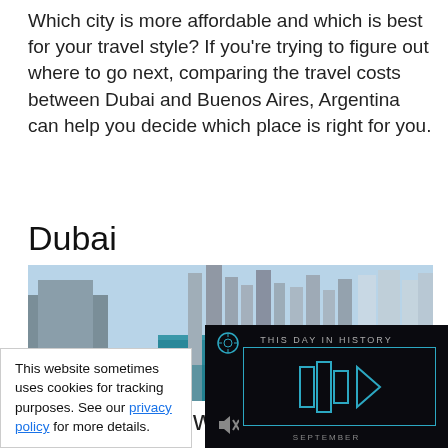Which city is more affordable and which is best for your travel style? If you're trying to figure out where to go next, comparing the travel costs between Dubai and Buenos Aires, Argentina can help you decide which place is right for you.
Dubai
[Figure (photo): Aerial photograph of Dubai cityscape showing skyscrapers, modern towers, and waterway]
Ever wonder wha
[Figure (screenshot): Video overlay showing 'THIS DAY IN HISTORY' with play button graphic and SEPTEMBER label on dark background]
This website sometimes uses cookies for tracking purposes. See our privacy policy for more details.